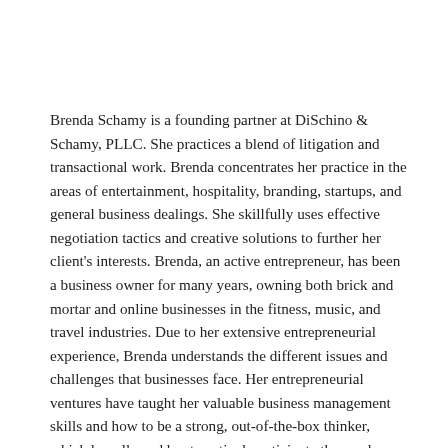Brenda Schamy is a founding partner at DiSchino & Schamy, PLLC. She practices a blend of litigation and transactional work. Brenda concentrates her practice in the areas of entertainment, hospitality, branding, startups, and general business dealings. She skillfully uses effective negotiation tactics and creative solutions to further her client's interests. Brenda, an active entrepreneur, has been a business owner for many years, owning both brick and mortar and online businesses in the fitness, music, and travel industries. Due to her extensive entrepreneurial experience, Brenda understands the different issues and challenges that businesses face. Her entrepreneurial ventures have taught her valuable business management skills and how to be a strong, out-of-the-box thinker, which has allowed her to actively anticipate the needs, concerns, and opportunities of her clients. Brenda excels at looking beyond the legal scope of business and working closely with clients to actualize their goals. Born in Argentina, Brenda is fluent in Spanish and